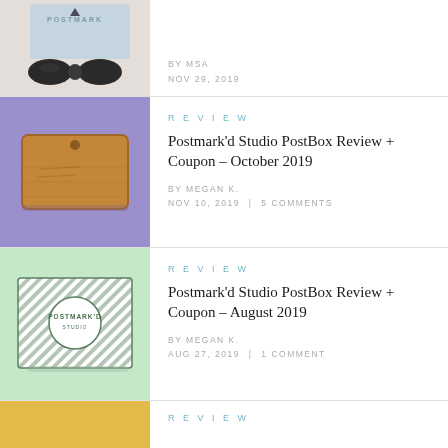[Figure (photo): Photo of a black bow tie with a Postmark'd Studio box on a white fur background]
BY MSA
NOV 29, 2019
[Figure (photo): Photo of a brown leather/paper pouch on a purple background]
REVIEW
Postmark'd Studio PostBox Review + Coupon – October 2019
BY MEGAN K.
NOV 10, 2019  |  5 COMMENTS
[Figure (photo): Photo of a Postmark'd striped box on a mint green background]
REVIEW
Postmark'd Studio PostBox Review + Coupon – August 2019
BY MEGAN K.
AUG 27, 2019  |  1 COMMENT
[Figure (photo): Partial photo with yellow/golden background - bottom of page]
REVIEW